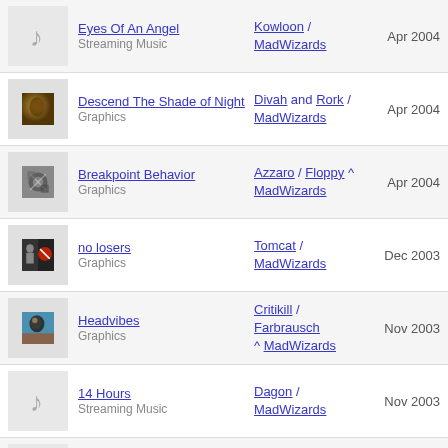Eyes Of An Angel | Streaming Music | Kowloon / MadWizards | Apr 2004
Descend The Shade of Night | Graphics | Divah and Rork / MadWizards | Apr 2004
Breakpoint Behavior | Graphics | Azzaro / Floppy ^ MadWizards | Apr 2004
no losers | Graphics | Tomcat / MadWizards | Dec 2003
Headvibes | Graphics | Critikill / Farbrausch ^ MadWizards | Nov 2003
14 Hours | Streaming Music | Dagon / MadWizards | Nov 2003
Nothin' 2 Loose | Streaming Music | sherl0ck / MadWizards | Sep 2003
Mother's Nightmare | Graphics | Critikill / Farbrausch ^ MadWizards | Aug 2003
Robo Nerd | Video | Dixie / MadWizards ^ Prototype | Jul 2003